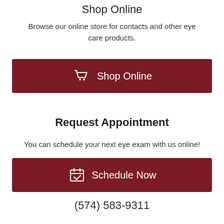Shop Online
Browse our online store for contacts and other eye care products.
[Figure (other): Dark red button with shopping cart icon and text 'Shop Online']
Request Appointment
You can schedule your next eye exam with us online!
[Figure (other): Dark red button with calendar/checkmark icon and text 'Schedule Now']
(574) 583-9311